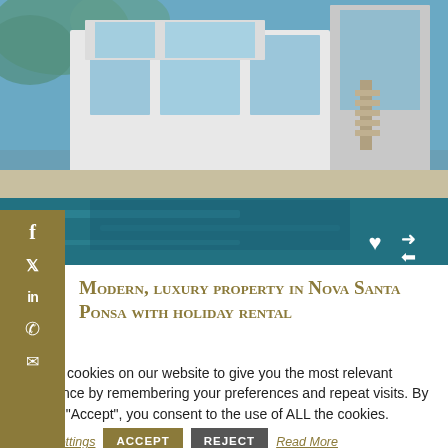[Figure (photo): Exterior photo of a modern luxury villa with white facade, large glass windows, and a reflective swimming pool in the foreground. Trees visible in background.]
Modern, luxury property in Nova Santa Ponsa with holiday rental
We use cookies on our website to give you the most relevant experience by remembering your preferences and repeat visits. By clicking “Accept”, you consent to the use of ALL the cookies.
Cookie settings
ACCEPT
REJECT
Read More